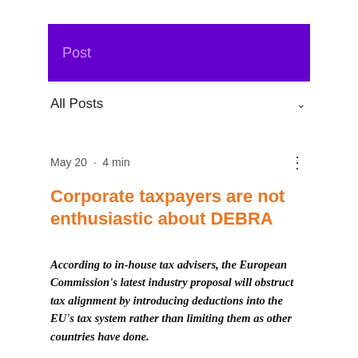Post
All Posts
May 20 · 4 min
Corporate taxpayers are not enthusiastic about DEBRA
According to in-house tax advisers, the European Commission's latest industry proposal will obstruct tax alignment by introducing deductions into the EU's tax system rather than limiting them as other countries have done.